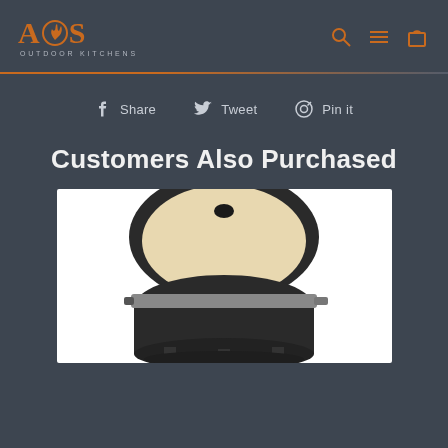[Figure (logo): AOS Outdoor Kitchens logo with flame icon, orange text on dark background]
Share   Tweet   Pin it
Customers Also Purchased
[Figure (photo): Kamado ceramic grill/smoker with lid open showing interior, product photo on white background]